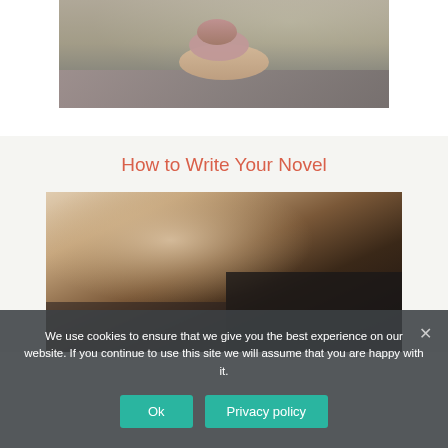[Figure (photo): Stacked zen stones/pebbles on a textured surface with blurred green background]
How to Write Your Novel
[Figure (photo): Close-up of a hand holding a pen writing in a notebook]
We use cookies to ensure that we give you the best experience on our website. If you continue to use this site we will assume that you are happy with it.